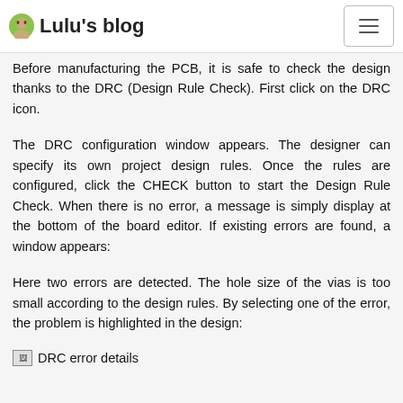Lulu's blog
Before manufacturing the PCB, it is safe to check the design thanks to the DRC (Design Rule Check). First click on the DRC icon.
The DRC configuration window appears. The designer can specify its own project design rules. Once the rules are configured, click the CHECK button to start the Design Rule Check. When there is no error, a message is simply display at the bottom of the board editor. If existing errors are found, a window appears:
Here two errors are detected. The hole size of the vias is too small according to the design rules. By selecting one of the error, the problem is highlighted in the design:
[Figure (screenshot): Broken image placeholder labeled 'DRC error details']